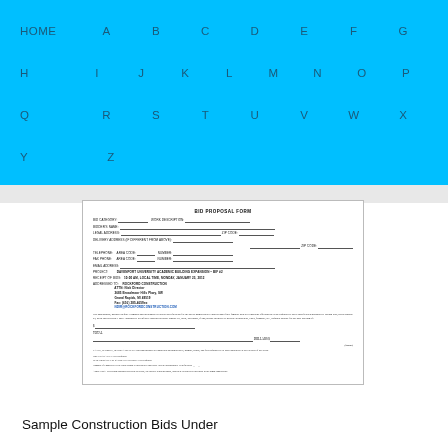HOME A B C D E F G H I J K L M N O P Q R S T U V W X Y Z
[Figure (other): Scanned bid proposal form document showing fields for bid category, work description, bidder name, addresses, phone, fax, email, project name (DAVENPORT UNIVERSITY ACADEMIC BUILDING EXPANSION - BIF #2), receipt deadline, and address to Rockford Construction. Includes signature lines and total dollar amount fields.]
Sample Construction Bids Under